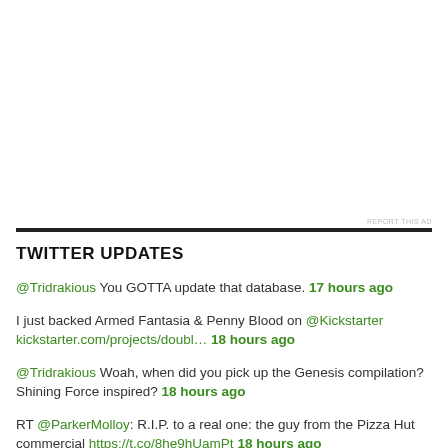REPORT THIS AD
TWITTER UPDATES
@Tridrakious You GOTTA update that database. 17 hours ago
I just backed Armed Fantasia & Penny Blood on @Kickstarter kickstarter.com/projects/doubl… 18 hours ago
@Tridrakious Woah, when did you pick up the Genesis compilation? Shining Force inspired? 18 hours ago
RT @ParkerMolloy: R.I.P. to a real one: the guy from the Pizza Hut commercial https://t.co/8he9hUamPt 18 hours ago
RT @cliftonhowze: Mullin, who financial disclosure reports show has a net worth in the millions of dollars, had nearly $1.2 million in fede… 6 days ago